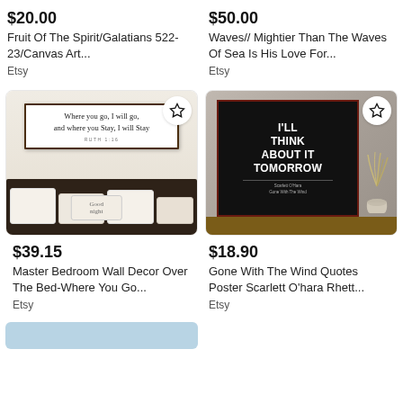$20.00
Fruit Of The Spirit/Galatians 522-23/Canvas Art...
Etsy
$50.00
Waves// Mightier Than The Waves Of Sea Is His Love For...
Etsy
[Figure (photo): Bedroom wall decor sign above a bed with white pillows, script text referencing Ruth 1:16, wood-framed sign]
[Figure (photo): Black poster with white text reading 'I'll Think About It Tomorrow' attributed to Scarlett O'Hara Gone With The Wind, placed on a shelf with a vase]
$39.15
Master Bedroom Wall Decor Over The Bed-Where You Go...
Etsy
$18.90
Gone With The Wind Quotes Poster Scarlett O'hara Rhett...
Etsy